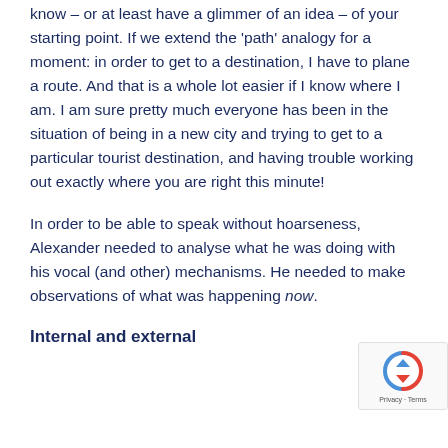know – or at least have a glimmer of an idea – of your starting point. If we extend the 'path' analogy for a moment: in order to get to a destination, I have to plane a route. And that is a whole lot easier if I know where I am. I am sure pretty much everyone has been in the situation of being in a new city and trying to get to a particular tourist destination, and having trouble working out exactly where you are right this minute!
In order to be able to speak without hoarseness, Alexander needed to analyse what he was doing with his vocal (and other) mechanisms. He needed to make observations of what was happening now.
Internal and external